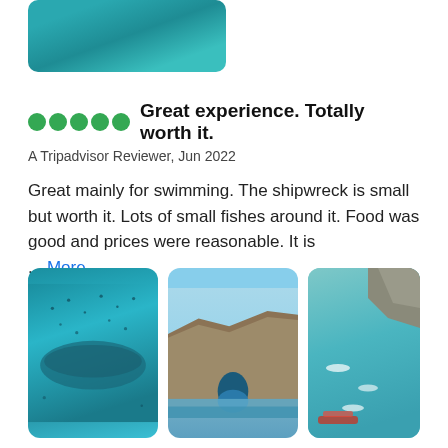[Figure (photo): Underwater photo showing ocean with fish and shipwreck, cropped at top of page]
Great experience. Totally worth it.
A Tripadvisor Reviewer, Jun 2022
Great mainly for swimming. The shipwreck is small but worth it. Lots of small fishes around it. Food was good and prices were reasonable. It is ... More
[Figure (photo): Underwater photo showing fish swimming near a shipwreck in turquoise blue water]
[Figure (photo): Rocky coastal cliffs with a sea cave arch, clear blue water in the foreground]
[Figure (photo): Aerial view of rocky coastline with swimmers and a boat in turquoise water]